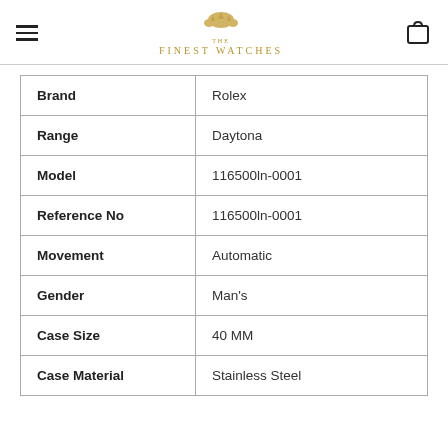THE FINEST WATCHES
| Attribute | Value |
| --- | --- |
| Brand | Rolex |
| Range | Daytona |
| Model | 116500ln-0001 |
| Reference No | 116500ln-0001 |
| Movement | Automatic |
| Gender | Man's |
| Case Size | 40 MM |
| Case Material | Stainless Steel |